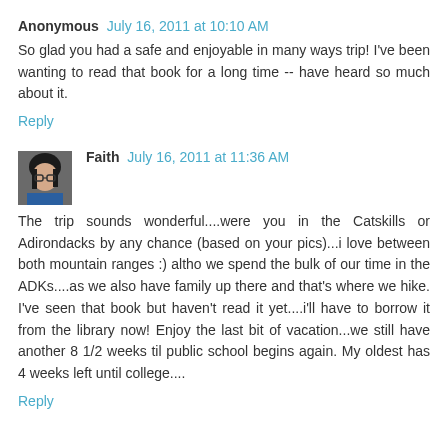Anonymous  July 16, 2011 at 10:10 AM
So glad you had a safe and enjoyable in many ways trip! I've been wanting to read that book for a long time -- have heard so much about it.
Reply
Faith  July 16, 2011 at 11:36 AM
The trip sounds wonderful....were you in the Catskills or Adirondacks by any chance (based on your pics)...i love between both mountain ranges :) altho we spend the bulk of our time in the ADKs....as we also have family up there and that's where we hike. I've seen that book but haven't read it yet....i'll have to borrow it from the library now! Enjoy the last bit of vacation...we still have another 8 1/2 weeks til public school begins again. My oldest has 4 weeks left until college....
Reply